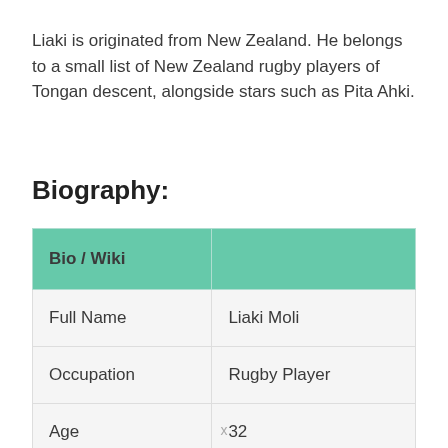Liaki is originated from New Zealand. He belongs to a small list of New Zealand rugby players of Tongan descent, alongside stars such as Pita Ahki.
Biography:
| Bio / Wiki |  |
| --- | --- |
| Full Name | Liaki Moli |
| Occupation | Rugby Player |
| Age | 32 |
x